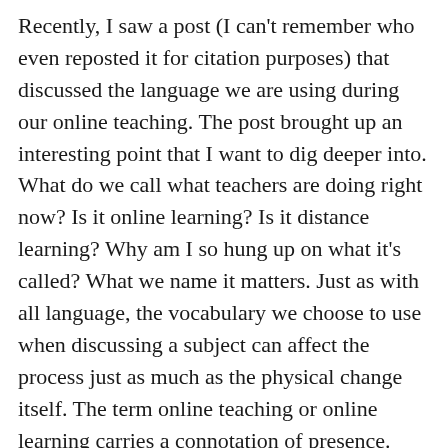Recently, I saw a post (I can't remember who even reposted it for citation purposes) that discussed the language we are using during our online teaching. The post brought up an interesting point that I want to dig deeper into. What do we call what teachers are doing right now? Is it online learning? Is it distance learning? Why am I so hung up on what it's called? What we name it matters. Just as with all language, the vocabulary we choose to use when discussing a subject can affect the process just as much as the physical change itself. The term online teaching or online learning carries a connotation of presence. Presence implies that teachers are live and lessons are synchronous. Distance learning, on the other hand, carries the connotation of sameness. It implies that the only difference between the classroom lessons and those online is the distance between the teacher and the students. Neither of these terms accurately defines